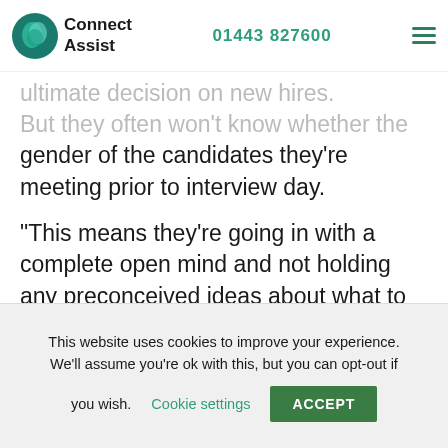Connect Assist | 01443 827600
ultimate decision on new hires. But they often won't know whether the gender of the candidates they're meeting prior to interview day.
“This means they’re going in with a complete open mind and not holding any preconceived ideas about what to expect. This isn’t a company policy, it just makes sense.”
Going forward, Rebecca hopes that more recruiters will take action to attempt to remove any unconscious or conscious bias from their recruitment, stressing that
This website uses cookies to improve your experience. We’ll assume you’re ok with this, but you can opt-out if you wish. Cookie settings ACCEPT